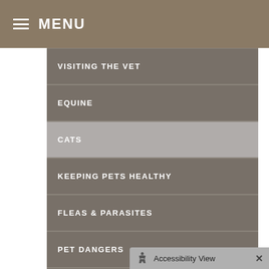MENU
VISITING THE VET
EQUINE
CATS
KEEPING PETS HEALTHY
FLEAS & PARASITES
PET DANGERS
BEHAVIOR & TRAINING
NEWSLETTER ARCHIVE
Accessibility View